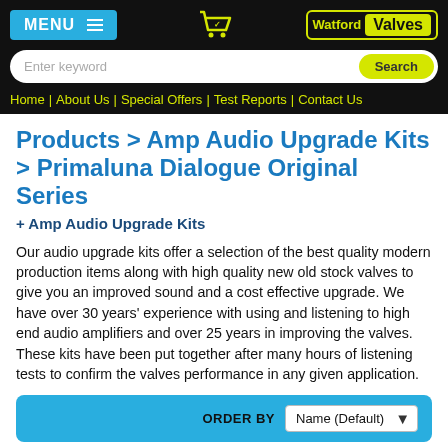MENU | cart | Watford Valves
Enter keyword | Search
Home | About Us | Special Offers | Test Reports | Contact Us
Products > Amp Audio Upgrade Kits > Primaluna Dialogue Original Series
+ Amp Audio Upgrade Kits
Our audio upgrade kits offer a selection of the best quality modern production items along with high quality new old stock valves to give you an improved sound and a cost effective upgrade. We have over 30 years' experience with using and listening to high end audio amplifiers and over 25 years in improving the valves. These kits have been put together after many hours of listening tests to confirm the valves performance in any given application.
ORDER BY Name (Default)